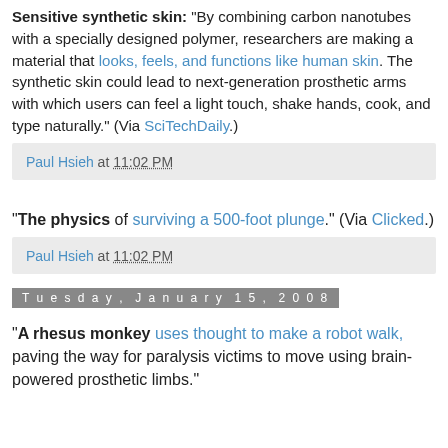Sensitive synthetic skin: "By combining carbon nanotubes with a specially designed polymer, researchers are making a material that looks, feels, and functions like human skin. The synthetic skin could lead to next-generation prosthetic arms with which users can feel a light touch, shake hands, cook, and type naturally." (Via SciTechDaily.)
Paul Hsieh at 11:02 PM
"The physics of surviving a 500-foot plunge." (Via Clicked.)
Paul Hsieh at 11:02 PM
Tuesday, January 15, 2008
"A rhesus monkey uses thought to make a robot walk, paving the way for paralysis victims to move using brain-powered prosthetic limbs."